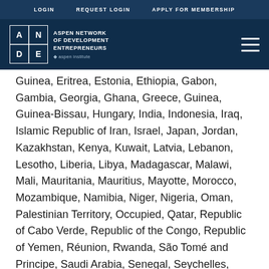LOGIN   REQUEST LOGIN   APPLY FOR MEMBERSHIP
[Figure (logo): ANDE - Aspen Network of Development Entrepreneurs logo with Aspen Institute branding, white on dark blue background, with hamburger menu icon]
Guinea, Eritrea, Estonia, Ethiopia, Gabon, Gambia, Georgia, Ghana, Greece, Guinea, Guinea-Bissau, Hungary, India, Indonesia, Iraq, Islamic Republic of Iran, Israel, Japan, Jordan, Kazakhstan, Kenya, Kuwait, Latvia, Lebanon, Lesotho, Liberia, Libya, Madagascar, Malawi, Mali, Mauritania, Mauritius, Mayotte, Morocco, Mozambique, Namibia, Niger, Nigeria, Oman, Palestinian Territory, Occupied, Qatar, Republic of Cabo Verde, Republic of the Congo, Republic of Yemen, Réunion, Rwanda, São Tomé and Principe, Saudi Arabia, Senegal, Seychelles, Sierra Leone, Somalia, South Africa, Swaziland, Syrian Arab Republic, Tanzania, Togo, Tunisia